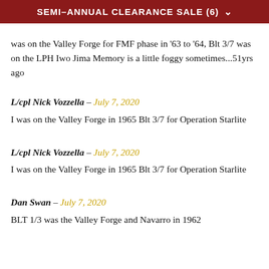SEMI-ANNUAL CLEARANCE SALE (6)
was on the Valley Forge for FMF phase in '63 to '64, Blt 3/7 was on the LPH Iwo Jima Memory is a little foggy sometimes...51yrs ago
L/cpl Nick Vozzella - July 7, 2020
I was on the Valley Forge in 1965 Blt 3/7 for Operation Starlite
L/cpl Nick Vozzella - July 7, 2020
I was on the Valley Forge in 1965 Blt 3/7 for Operation Starlite
Dan Swan - July 7, 2020
BLT 1/3 was the Valley Forge and Navarro in 1962